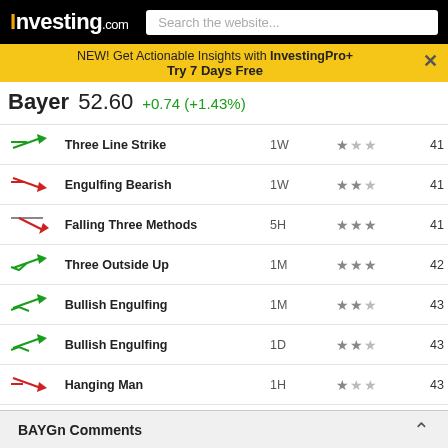Investing.com — Search the website...
NEW! Get Actionable Insights with InvestingPro+ Try 7 Days Free
Bayer 52.60 +0.74 (+1.43%)
| Icon | Pattern | Timeframe | Stars | Value |
| --- | --- | --- | --- | --- |
| ↑ | Three Line Strike | 1W | ★☆☆ | 41 |
| ↓ | Engulfing Bearish | 1W | ★★☆ | 41 |
| ↓ | Falling Three Methods | 5H | ★★★ | 41 |
| ↑ | Three Outside Up | 1M | ★★★ | 42 |
| ↑ | Bullish Engulfing | 1M | ★★☆ | 43 |
| ↑ | Bullish Engulfing | 1D | ★★☆ | 43 |
| ↓ | Hanging Man | 1H | ★☆☆ | 43 |
| ↑ | Bullish Hammer | 30 | ★☆☆ | 43 |
| ↓ | Falling Three Methods | 1D | ★★★ | 45 |
| ↓ | Doji Star Bearish | 1W | ★★☆ | 46 |
| ↑ | Three Outside Up | 1D | ★★★ | 46 |
| ↑ | Bullish Engulfing | 1H | ★★☆ | 46 |
| ↑ | Belt Hold | ... | ... | ... |
| ↑ | Bullish E... | ... | ... | ... |
BAYGn Comments